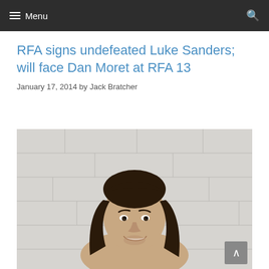Menu
RFA signs undefeated Luke Sanders; will face Dan Moret at RFA 13
January 17, 2014 by Jack Bratcher
[Figure (photo): Portrait photo of a young man with long dark hair, smiling, shirtless, against a light brick wall background]